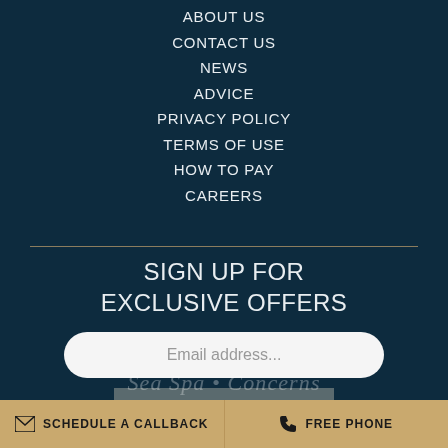ABOUT US
CONTACT US
NEWS
ADVICE
PRIVACY POLICY
TERMS OF USE
HOW TO PAY
CAREERS
SIGN UP FOR EXCLUSIVE OFFERS
Email address...
SUBMIT
SCHEDULE A CALLBACK   FREE PHONE